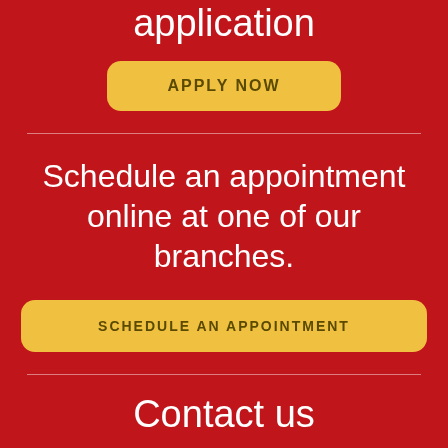application
APPLY NOW
Schedule an appointment online at one of our branches.
SCHEDULE AN APPOINTMENT
Contact us